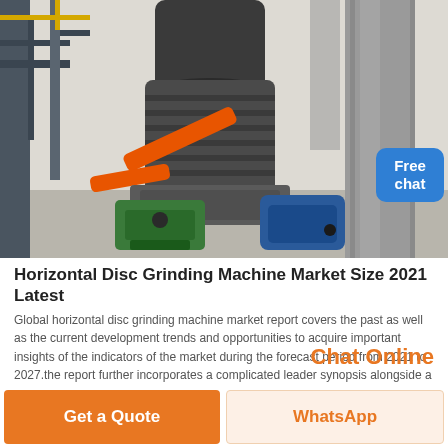[Figure (photo): Industrial horizontal disc grinding machine in a factory setting. Large grey cylindrical mill with orange arm, green pump and blue motor at base, large silver ductwork on right side.]
Horizontal Disc Grinding Machine Market Size 2021 Latest
Global horizontal disc grinding machine market report covers the past as well as the current development trends and opportunities to acquire important insights of the indicators of the market during the forecast period from 2021 to 2027.the report further incorporates a complicated leader synopsis alongside a preview of the development
Chat Online
Get a Quote
WhatsApp